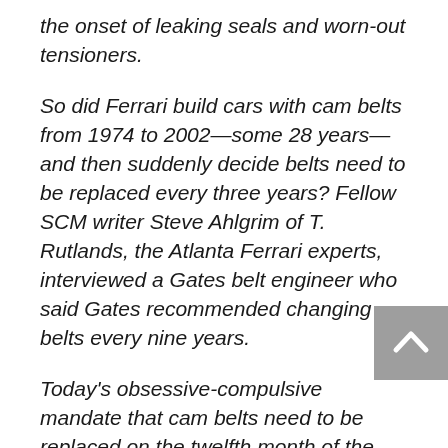the onset of leaking seals and worn-out tensioners.
So did Ferrari build cars with cam belts from 1974 to 2002—some 28 years—and then suddenly decide belts need to be replaced every three years? Fellow SCM writer Steve Ahlgrim of T. Rutlands, the Atlanta Ferrari experts, interviewed a Gates belt engineer who said Gates recommended changing belts every nine years.
Today's obsessive-compulsive mandate that cam belts need to be replaced on the twelfth month of the fifth year is simply silly. For example we bought and sold 1983 512 BB S/N 35411 in November, with 30,000 miles, and it had